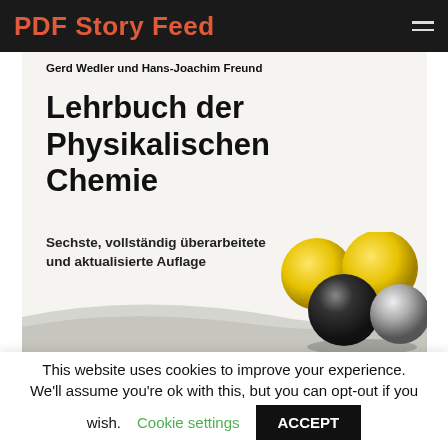PDF Story Feed
[Figure (illustration): Book cover of 'Lehrbuch der Physikalischen Chemie' by Gerd Wedler und Hans-Joachim Freund, Sechste, vollständig überarbeitete und aktualisierte Auflage, with molecular ball illustrations (yellow and black/grey spheres) on lower right.]
This website uses cookies to improve your experience. We'll assume you're ok with this, but you can opt-out if you wish. Cookie settings ACCEPT